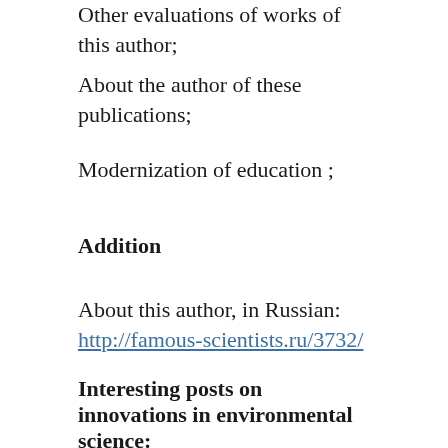Other evaluations of works of this author;
About the author of these publications;
Modernization of education ;
Addition
About this author, in Russian: http://famous-scientists.ru/3732/
Interesting posts on innovations in environmental science:
http://5bio5.blogspot.com/2012/05/normal-0-false-false-false-en-us-x-none.html